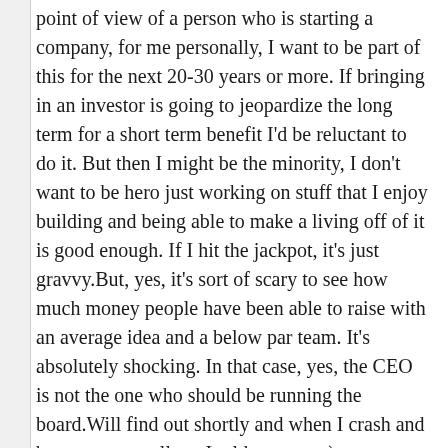point of view of a person who is starting a company, for me personally, I want to be part of this for the next 20-30 years or more. If bringing in an investor is going to jeopardize the long term for a short term benefit I'd be reluctant to do it. But then I might be the minority, I don't want to be hero just working on stuff that I enjoy building and being able to make a living off of it is good enough. If I hit the jackpot, it's just gravvy.But, yes, it's sort of scary to see how much money people have been able to raise with an average idea and a below par team. It's absolutely shocking. In that case, yes, the CEO is not the one who should be running the board.Will find out shortly and when I crash and burn you can tell me I told you so ;- ).